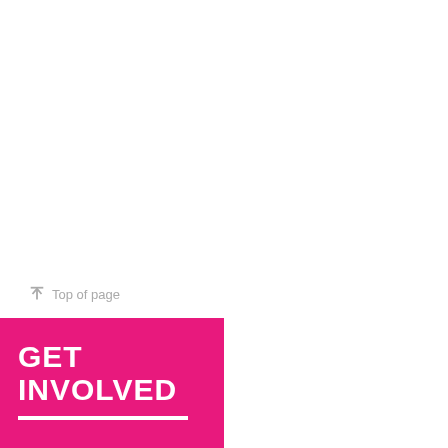[Figure (photo): Portrait photo of a woman with brown hair and black-rimmed glasses, resting her chin on her hand, wearing a patterned top, against a light background.]
European Short Pitch workshops. She ran a Script&Pitch workshop in 2012 before consulting for FeatureLab. Britta is currently teaching at Filmakademie Ludwigsburg to students as well as working one on one with writers.
Top of page
GET INVOLVED
DISCOVER DFI